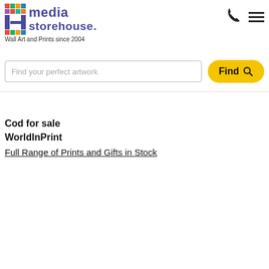[Figure (logo): Media Storehouse logo with colorful grid icon and blue text reading 'media storehouse.' with tagline 'Wall Art and Prints since 2004']
[Figure (other): Phone icon (telephone handset) in top right header area]
[Figure (other): Hamburger menu icon (three horizontal bars) in top right header area]
Find your perfect artwork
Find
Cod for sale
WorldInPrint
Full Range of Prints and Gifts in Stock